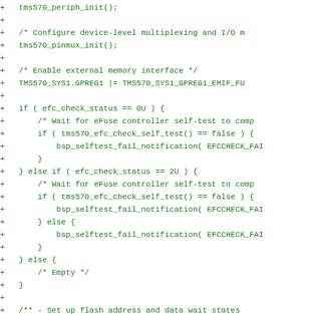[Figure (other): Source code diff snippet in green monospace font showing C code for embedded TMS570 microcontroller initialization, including pinmux, EMIF, eFuse controller self-test, and flash init sections, with '+' diff markers on each line.]